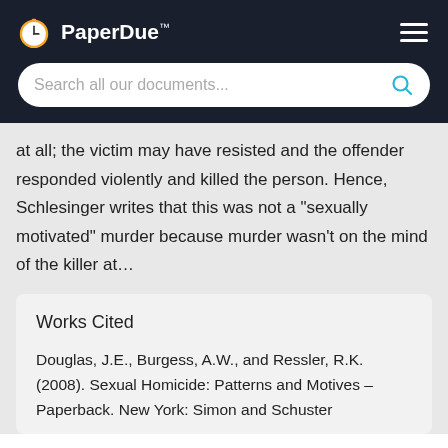PaperDue™
at all; the victim may have resisted and the offender responded violently and killed the person. Hence, Schlesinger writes that this was not a "sexually motivated" murder because murder wasn't on the mind of the killer at…
Works Cited
Douglas, J.E., Burgess, A.W., and Ressler, R.K. (2008). Sexual Homicide: Patterns and Motives – Paperback. New York: Simon and Schuster